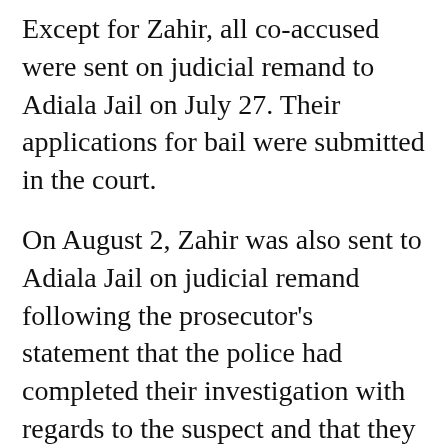Except for Zahir, all co-accused were sent on judicial remand to Adiala Jail on July 27. Their applications for bail were submitted in the court.
On August 2, Zahir was also sent to Adiala Jail on judicial remand following the prosecutor's statement that the police had completed their investigation with regards to the suspect and that they no longer required his physical custody.
As the investigation of the case proceeded, in mid-August the police arrested six employees